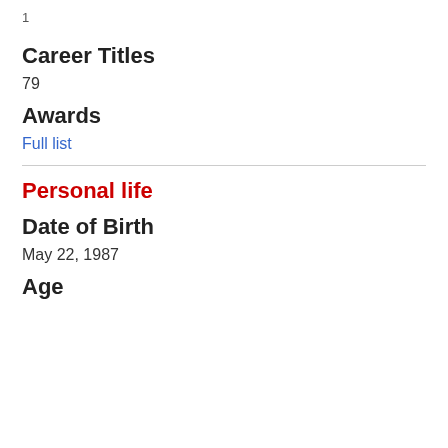1
Career Titles
79
Awards
Full list
Personal life
Date of Birth
May 22, 1987
Age